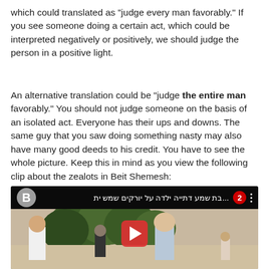which could translated as "judge every man favorably." If you see someone doing a certain act, which could be interpreted negatively or positively, we should judge the person in a positive light.
An alternative translation could be "judge the entire man favorably." You should not judge someone on the basis of an isolated act. Everyone has their ups and downs. The same guy that you saw doing something nasty may also have many good deeds to his credit. You have to see the whole picture. Keep this in mind as you view the following clip about the zealots in Beit Shemesh:
[Figure (screenshot): YouTube video thumbnail showing a news clip with Hebrew text overlay reading about Beit Shemesh, with a Channel 2 logo, avatar icon labeled B, and two men standing outside with trees in the background. A red YouTube play button is visible.]